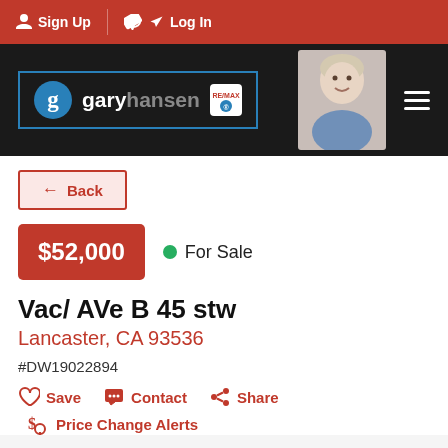Sign Up  Log In
[Figure (logo): Gary Hansen real estate agent logo with RE/MAX badge and agent photo on dark background]
← Back
$52,000  ● For Sale
Vac/ AVe B 45 stw
Lancaster, CA 93536
#DW19022894
♡ Save  ✉ Contact  ⟨ Share
$ Price Change Alerts